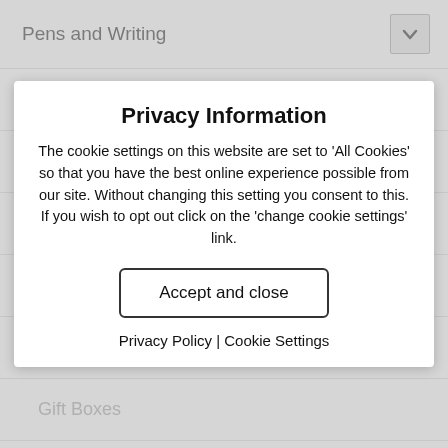Pens and Writing
Art Sets
Ballpens
Crayons
Fountain Pens
Gel Pens
Gift Boxes
Nibs
Markers
Mechanical Pencils
Pen Packaging
Privacy Information
The cookie settings on this website are set to 'All Cookies' so that you have the best online experience possible from our site. Without changing this setting you consent to this. If you wish to opt out click on the 'change cookie settings' link.
Accept and close
Privacy Policy | Cookie Settings